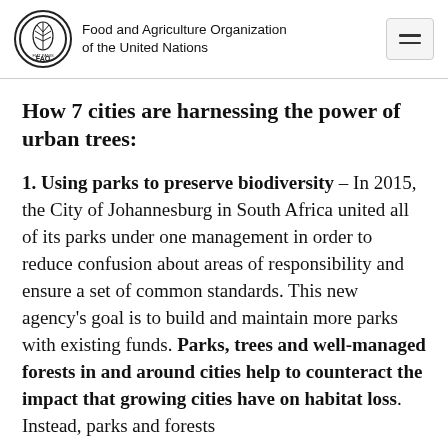Food and Agriculture Organization of the United Nations
How 7 cities are harnessing the power of urban trees:
1. Using parks to preserve biodiversity – In 2015, the City of Johannesburg in South Africa united all of its parks under one management in order to reduce confusion about areas of responsibility and ensure a set of common standards. This new agency's goal is to build and maintain more parks with existing funds. Parks, trees and well-managed forests in and around cities help to counteract the impact that growing cities have on habitat loss. Instead, parks and forests